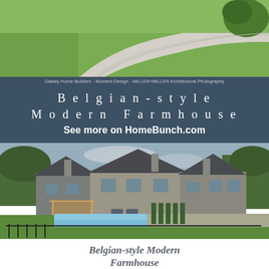[Figure (photo): Aerial/driveway view of a modern farmhouse with curving concrete driveway and lush green lawn]
Oakley Home Builders - Moment Design - MILLER+MILLER Architectural Photography
Belgian-style Modern Farmhouse
See more on HomeBunch.com
[Figure (photo): Aerial view of Belgian-style Modern Farmhouse with pool, pergola, landscaping, and dark metal roof]
Belgian-style Modern Farmhouse